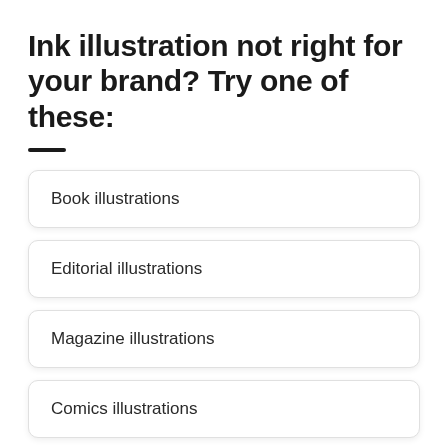Ink illustration not right for your brand? Try one of these:
Book illustrations
Editorial illustrations
Magazine illustrations
Comics illustrations